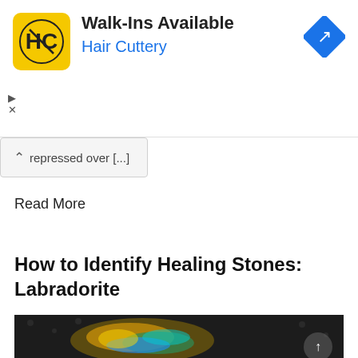[Figure (advertisement): Hair Cuttery ad banner with yellow logo showing HC, headline 'Walk-Ins Available', company name 'Hair Cuttery' in blue, and blue diamond navigation arrow icon on right]
repressed over [...]
Read More
How to Identify Healing Stones: Labradorite
[Figure (photo): Close-up photograph of a labradorite healing stone with iridescent blue-green-gold colors on a dark textured background, with a metallic skull charm visible]